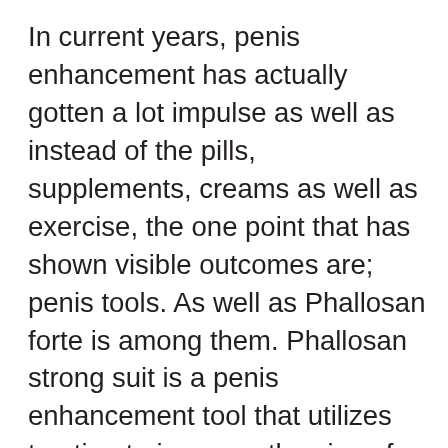In current years, penis enhancement has actually gotten a lot impulse as well as instead of the pills, supplements, creams as well as exercise, the one point that has shown visible outcomes are; penis tools. As well as Phallosan forte is among them. Phallosan strong suit is a penis enhancement tool that utilizes traction to increase the size of the penis. This FDA accepted product was created and also examined in Germany. The gadget services a gradual pulling method that presses the penile cells to tear and them fix themselves. In the process of destruction as well as leisure, the cells break and also reform leading to augmentation of your penis. This method has actually been evaluated medically before it was launched